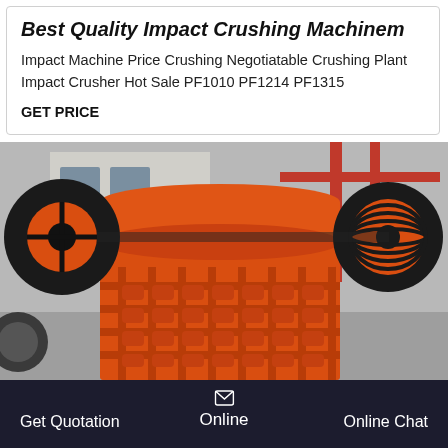Best Quality Impact Crushing Machinem
Impact Machine Price Crushing Negotiatable Crushing Plant Impact Crusher Hot Sale PF1010 PF1214 PF1315
GET PRICE
[Figure (photo): Large orange impact crusher / jaw crusher machine with black flywheels, photographed outdoors at an industrial facility. Chinese text visible on building in background.]
Get Quotation   Online   Online Chat